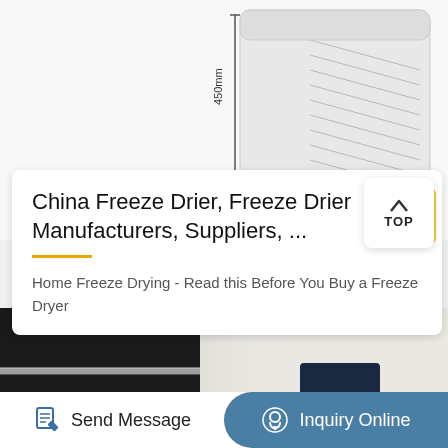[Figure (photo): Close-up of a white freeze drier / freeze dryer appliance with ventilation grilles; CE and ISO certification badges visible; dimension annotation showing 450mm; technical product image with line drawing overlay.]
China Freeze Drier, Freeze Drier Manufacturers, Suppliers, ...
Home Freeze Drying - Read this Before You Buy a Freeze Dryer
[Figure (photo): Close-up macro photo of a freeze dryer machine showing white casing edge against black lid/drum, with metallic trim strip.]
Send Message
Inquiry Online